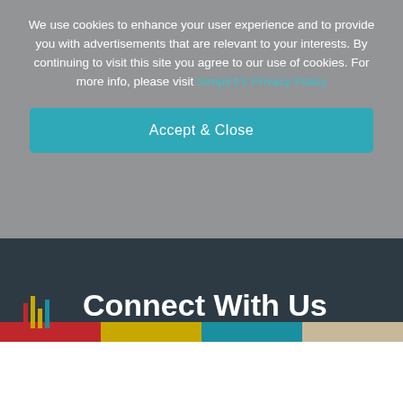We use cookies to enhance your user experience and to provide you with advertisements that are relevant to your interests. By continuing to visit this site you agree to our use of cookies. For more info, please visit Simpli.fi's Privacy Policy
Accept & Close
Connect With Us
Please complete this form to receive more information.
Learn More.